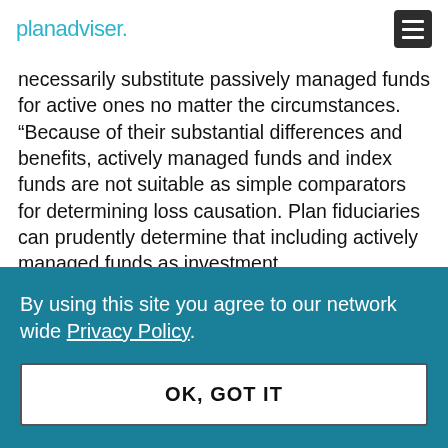planadviser.
necessarily substitute passively managed funds for active ones no matter the circumstances. “Because of their substantial differences and benefits, actively managed funds and index funds are not suitable as simple comparators for determining loss causation. Plan fiduciaries can prudently determine that including actively managed funds as investment
By using this site you agree to our network wide Privacy Policy.
OK, GOT IT